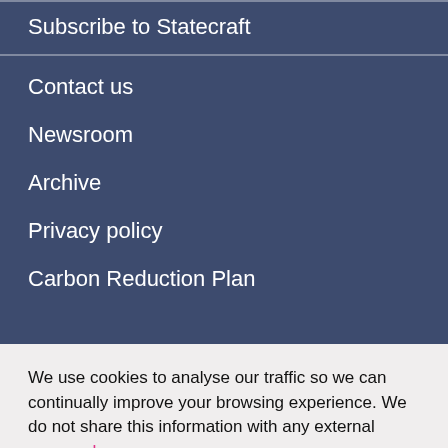Subscribe to Statecraft
Contact us
Newsroom
Archive
Privacy policy
Carbon Reduction Plan
We use cookies to analyse our traffic so we can continually improve your browsing experience. We do not share this information with any external sources. Learn more
Accept
Reject